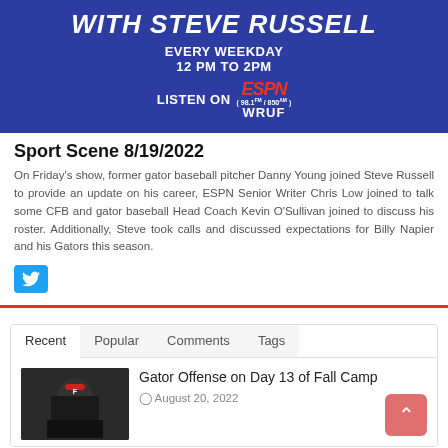[Figure (infographic): Blue banner with 'WITH STEVE RUSSELL' in large italic white bold text, 'EVERY WEEKDAY 12 PM TO 2PM' below, then 'LISTEN ON ESPN WRUF' with ESPN red logo and radio frequencies 98.1FM/850AM]
Sport Scene 8/19/2022
On Friday's show, former gator baseball pitcher Danny Young joined Steve Russell to provide an update on his career, ESPN Senior Writer Chris Low joined to talk some CFB and gator baseball Head Coach Kevin O'Sullivan joined to discuss his roster. Additionally, Steve took calls and discussed expectations for Billy Napier and his Gators this season.
[Figure (logo): Twitter bird logo button in blue square]
Recent | Popular | Comments | Tags (navigation tabs)
[Figure (photo): Football player in red helmet, dark action photo]
Gator Offense on Day 13 of Fall Camp
August 20, 2022